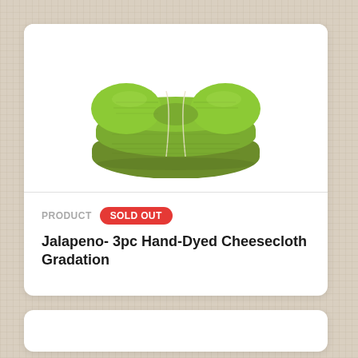[Figure (photo): A bundle of jalapeno green hand-dyed cheesecloth pieces folded and tied with a thin cord, photographed on a white background.]
PRODUCT   SOLD OUT
Jalapeno- 3pc Hand-Dyed Cheesecloth Gradation